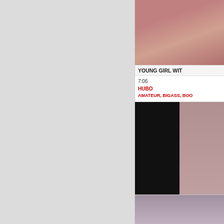[Figure (screenshot): Left side: large light gray textured background area. Right column: video thumbnail cards from a video listing website.]
YOUNG GIRL WIT
7:06
HUBO
AMATEUR, BIGASS, BOO
BANGH
12:03
HUBO
AMATEUR, BIGDICK, BL